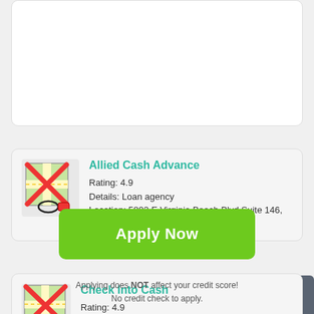[Figure (screenshot): Partially visible white card at top of page, cut off]
Allied Cash Advance
Rating: 4.9
Details: Loan agency
Location: 5802 E Virginia Beach Blvd Suite 146, Norfolk, VA 23502, United States
Check Into Cash
Rating: 4.9
Apply Now
Applying does NOT affect your credit score!
No credit check to apply.